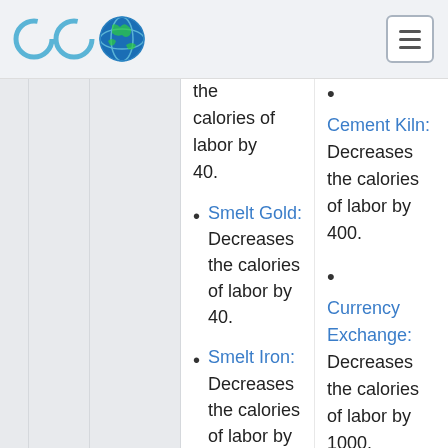ECO (game wiki) navigation header
the calories of labor by 40.
Smelt Gold: Decreases the calories of labor by 40.
Smelt Iron: Decreases the calories of labor by
Cement Kiln: Decreases the calories of labor by 400.
Currency Exchange: Decreases the calories of labor by 1000.
Mint: